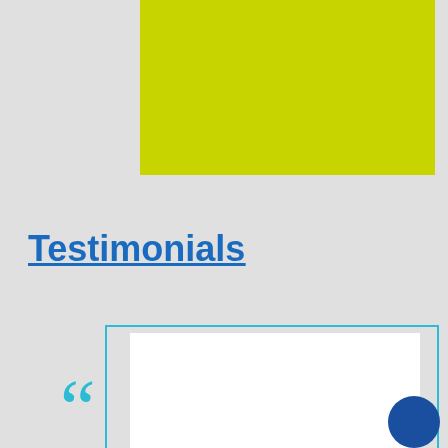[Figure (illustration): Lime green/yellow-green rectangle positioned in the upper right portion of the page on a light grey background]
Testimonials
[Figure (illustration): A testimonial content area with a cyan/teal border box containing a white inner rectangle, large cyan opening quote marks at the bottom left, and a dark blue circle at the bottom right]